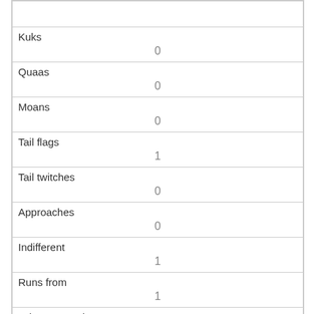|  |  |
| Kuks | 0 |
| Quaas | 0 |
| Moans | 0 |
| Tail flags | 1 |
| Tail twitches | 0 |
| Approaches | 0 |
| Indifferent | 1 |
| Runs from | 1 |
| Other Interactions | dog chased |
| Lat/Long |  |